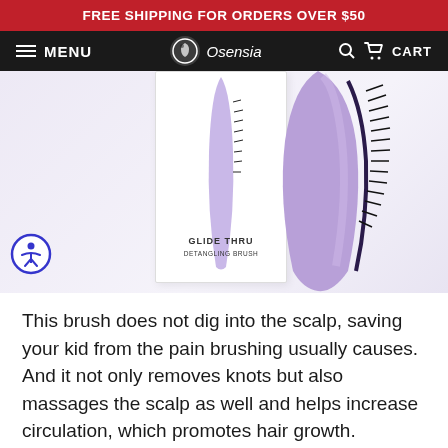FREE SHIPPING FOR ORDERS OVER $50
MENU  Osensia  CART
[Figure (photo): Purple Glide Thru Detangling Brush product shown outside and inside its white retail packaging box. The brush is a curved purple ergonomic design with fine black bristles along one edge. The box label reads 'GLIDE THRU DETANGLING BRUSH'.]
This brush does not dig into the scalp, saving your kid from the pain brushing usually causes. And it not only removes knots but also massages the scalp as well and helps increase circulation, which promotes hair growth.